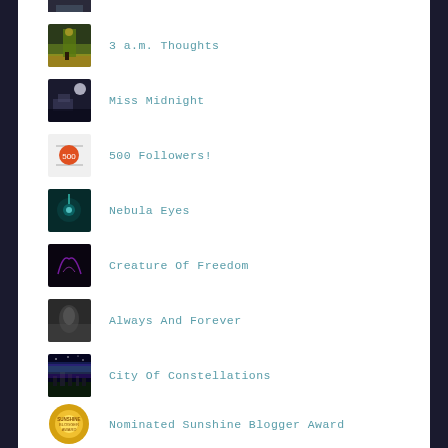[Figure (photo): Thumbnail image partially visible at top]
3 a.m. Thoughts
Miss Midnight
500 Followers!
Nebula Eyes
Creature Of Freedom
Always And Forever
City Of Constellations
Nominated Sunshine Blogger Award